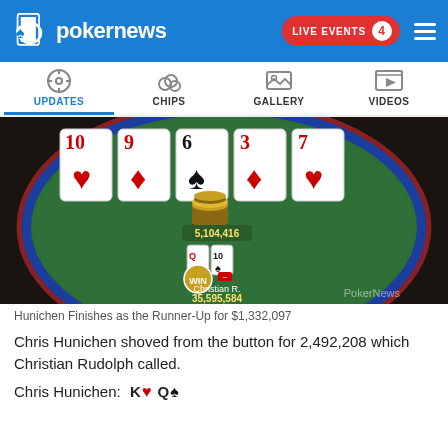pokernews — LIVE EVENTS 4
[Figure (screenshot): Navigation tabs: UPDATES (active, blue underline), CHIPS, GALLERY, VIDEOS with icons]
[Figure (screenshot): Poker table screenshot showing board cards: 10 of hearts, 9 of diamonds, 6 of spades, 3 of diamonds, 7 of hearts. Chip stack showing 5,104,416. Player hand Q of hearts, 10 of spades. Player 'Christian R.' with stack 35,595,584. PokerNews watermark.]
Hunichen Finishes as the Runner-Up for $1,332,097
Chris Hunichen shoved from the button for 2,492,208 which Christian Rudolph called.
Chris Hunichen:  K♥ Q♠